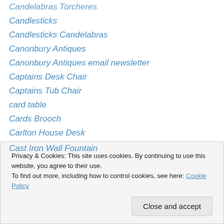Candelabras Torcheres
Candlesticks
Candlesticks Candelabras
Canonbury Antiques
Canonbury Antiques email newsletter
Captains Desk Chair
Captains Tub Chair
card table
Cards Brooch
Carlton House Desk
Carriage Clock
Carved Figures
Carved Mirror
Carved Tusks
Cast Iron Wall Fountain
Privacy & Cookies: This site uses cookies. By continuing to use this website, you agree to their use.
To find out more, including how to control cookies, see here: Cookie Policy